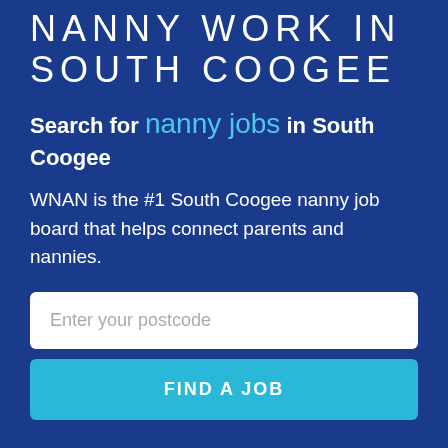NANNY WORK IN SOUTH COOGEE
Search for nanny jobs in South Coogee
WNAN is the #1 South Coogee nanny job board that helps connect parents and nannies.
Enter your postcode
FIND A JOB